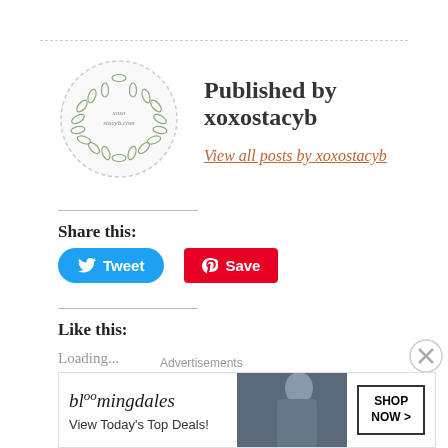[Figure (logo): Circular wreath logo with cursive text inside, dashed border circle]
Published by xoxostacyb
View all posts by xoxostacyb
Share this:
[Figure (other): Tweet button (blue rounded) and Save button (red)]
Like this:
Loading...
AMAZON
AMAZON FASHION
MADEWELL
NORDSTROM
NORDSTROM RACK
TARGET
Advertisements
[Figure (other): Bloomingdale's advertisement banner: 'View Today's Top Deals!' with SHOP NOW button and model photo]